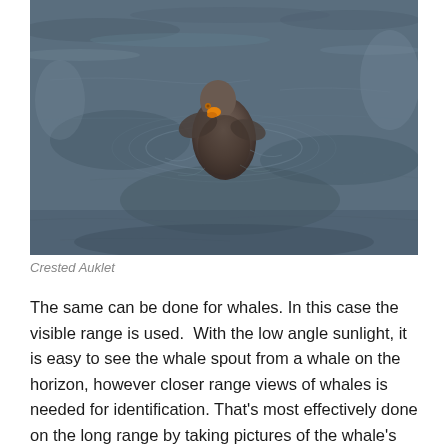[Figure (photo): Overhead photo of a Crested Auklet bird floating on dark blue-grey rippling ocean water, viewed from above. The bird is brown/grey with a small orange beak, centered in the frame.]
Crested Auklet
The same can be done for whales. In this case the visible range is used.  With the low angle sunlight, it is easy to see the whale spout from a whale on the horizon, however closer range views of whales is needed for identification. That's most effectively done on the long range by taking pictures of the whale's tail.  Here is a